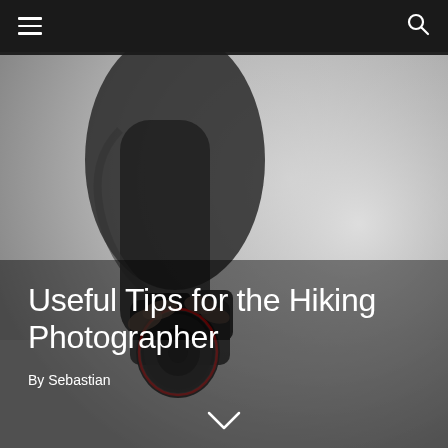Navigation bar with hamburger menu and search icon
[Figure (photo): A person's hand holding a DSLR camera with a lens, shot in muted gray tones with a foggy, misty background. The image fills the full page behind the navigation bar and title overlay.]
Useful Tips for the Hiking Photographer
By Sebastian